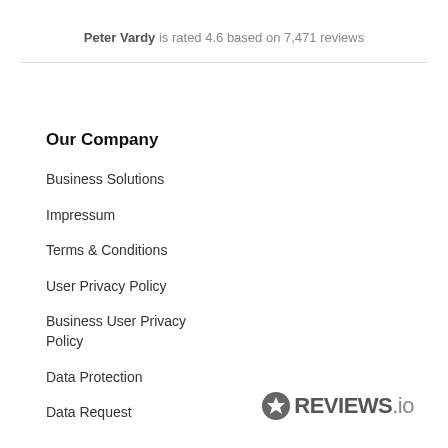Peter Vardy is rated 4.6 based on 7,471 reviews
Our Company
Business Solutions
Impressum
Terms & Conditions
User Privacy Policy
Business User Privacy Policy
Data Protection
Data Request
[Figure (logo): REVIEWS.io logo with star icon]